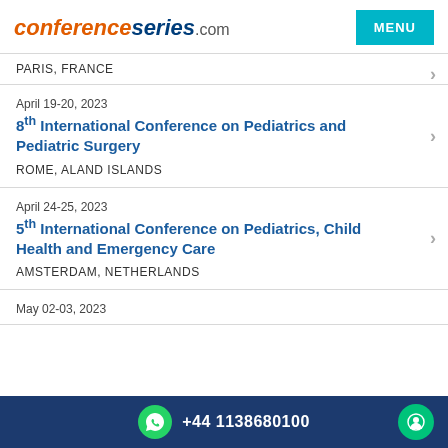conferenceseries.com
PARIS, FRANCE
April 19-20, 2023
8th International Conference on Pediatrics and Pediatric Surgery
ROME, ALAND ISLANDS
April 24-25, 2023
5th International Conference on Pediatrics, Child Health and Emergency Care
AMSTERDAM, NETHERLANDS
May 02-03, 2023
+44 1138680100